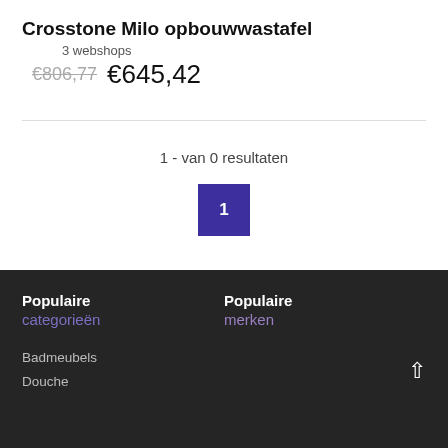Crosstone Milo opbouwwastafel
3 webshops
€806,77  €645,42
1 - van 0 resultaten
1
Populaire categorieën
Populaire merken
Badmeubels
Douche